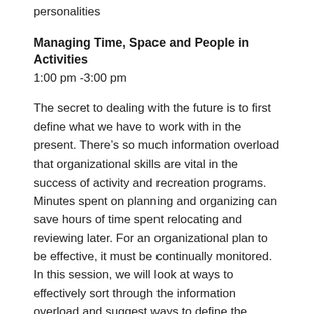personalities
Managing Time, Space and People in Activities
1:00 pm -3:00 pm
The secret to dealing with the future is to first define what we have to work with in the present. There’s so much information overload that organizational skills are vital in the success of activity and recreation programs. Minutes spent on planning and organizing can save hours of time spent relocating and reviewing later. For an organizational plan to be effective, it must be continually monitored. In this session, we will look at ways to effectively sort through the information overload and suggest ways to define the future.
Session Objectives: